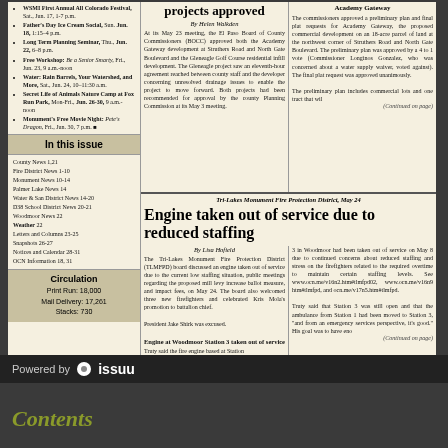WSMI First Annual All Colorado Festival, Sat., Jun. 17, 1-7 p.m.
Father's Day Ice Cream Social, Sun. Jun. 18, 1:15-4 p.m.
Long Term Planning Seminar, Thu., Jun. 22, 6-8 p.m.
Free Workshop: Be a Senior Smarty, Fri., Jun. 23, 9 a.m.-noon
Water: Rain Barrels, Your Watershed, and More, Sat., Jun. 24, 10-11:30 a.m.
Secret Life of Animals Nature Camp at Fox Run Park, Mon-Fri., Jun. 26-30, 9 a.m.-noon
Monument's Free Movie Night: Pete's Dragon, Fri., Jun. 30, 7 p.m.
In this issue
County News 1,21
Fire District News 1-10
Monument News 10-14
Palmer Lake News 14
Water & San District News 14-20
D38 School District News 20-21
Woodmoor News 22
Weather 22
Letters and Columns 23-25
Snapshots 26-27
Notices and Calendar 28-31
OCN Information 18, 31
Circulation
Print Run: 18,000
Mail Delivery: 17,261
Stacks: 730
projects approved
By Helen Walkden
At its May 23 meeting, the El Paso Board of County Commissioners (BOCC) approved both the Academy Gateway development at Struthers Road and North Gate Boulevard and the Gleneagle Golf Course residential infill development. The Gleneagle project saw an eleventh-hour agreement reached between county staff and the developer concerning unresolved drainage issues to enable the project to move forward. Both projects had been recommended for approval by the county Planning Commission at its May 3 meeting.
Academy Gateway
The commissioners approved a preliminary plan and final plat requests for Academy Gateway, the proposed commercial development on an 18-acre parcel of land at the northwest corner of Struthers Road and North Gate Boulevard. The preliminary plan was approved by a 4 to 1 vote (Commissioner Longinos Gonzalez, who was concerned about a water supply waiver, voted against). The final plat request was approved unanimously.

The preliminary plan includes commercial lots and one tract that wil
(Continued on page)
Tri-Lakes Monument Fire Protection District, May 24
Engine taken out of service due to reduced staffing
By Lisa Hofield
The Tri-Lakes Monument Fire Protection District (TLMFPD) board discussed an engine taken out of service due to the current low staffing situation, public meetings regarding the proposed mill levy increase ballot measure, and impact fees, on May 24. The board also welcomed three new firefighters and celebrated Kris Mola's promotion to battalion chief.

President Jake Shirk was excused.

Engine at Woodmoor Station 3 taken out of service

Truty said the fire engine based at Station
3 in Woodmoor had been taken out of service on May 8 due to continued concerns about reduced staffing and stress on the firefighters related to the required overtime to maintain certain staffing levels. See www.ocn.me/v16n2.htm#tlmfpd02, www.ocn.me/v16n9 htm#tlmfpd, and ocn.me/v17n5.htm#tlmfpd.

Truty said that Station 3 was still open and that the ambulance from Station 1 had been moved to Station 3, "and from an emergency services perspective, it's good." His goal was to have eno
(Continued on page)
Powered by issuu
Contents